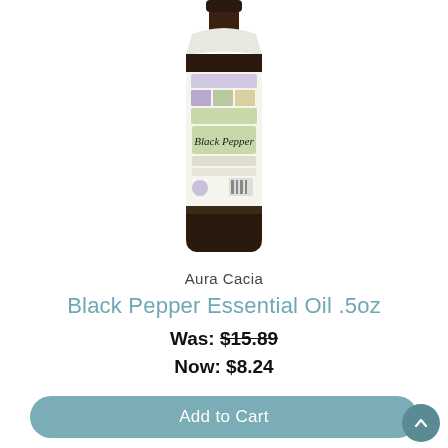[Figure (photo): Aura Cacia Black Pepper Essential Oil bottle, approximately 0.5oz size, with white and green label, dark brown glass bottle]
Aura Cacia
Black Pepper Essential Oil .5oz
Was: $15.89
Now: $8.24
Add to Cart